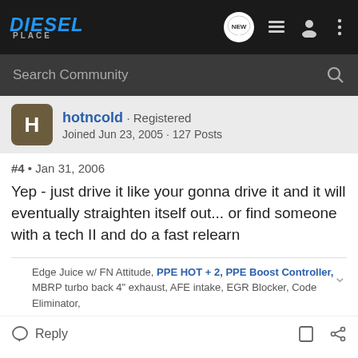Diesel Place · Search Community
hotncold · Registered · Joined Jun 23, 2005 · 127 Posts
#4 • Jan 31, 2006
Yep - just drive it like your gonna drive it and it will eventually straighten itself out... or find someone with a tech II and do a fast relearn
Edge Juice w/ FN Attitude, PPE HOT + 2, PPE Boost Controller, MBRP turbo back 4" exhaust, AFE intake, EGR Blocker, Code Eliminator,
Reply